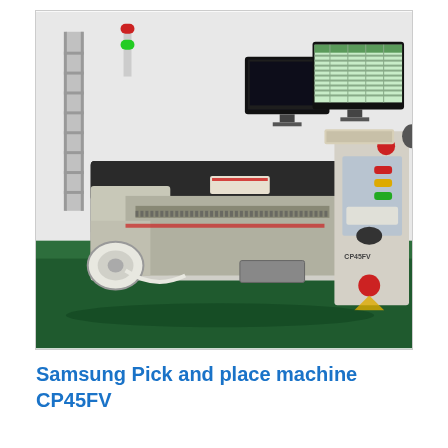[Figure (photo): Samsung CP45FV pick and place SMT machine in a factory setting. The machine has a large dark-colored gantry body with a white control tower on the right side featuring colored indicator lights and a control panel. Two computer monitors are mounted on the right top showing software displays. The machine has feeder components on the left side and sits on a green factory floor.]
Samsung Pick and place machine CP45FV